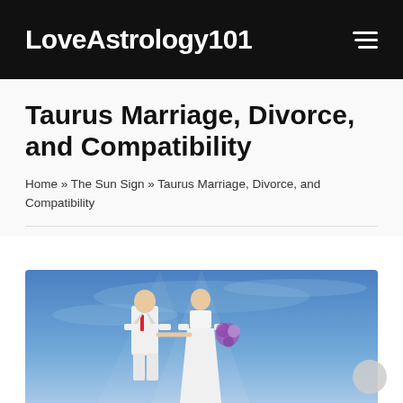LoveAstrology101
Taurus Marriage, Divorce, and Compatibility
Home » The Sun Sign » Taurus Marriage, Divorce, and Compatibility
[Figure (photo): A couple in white wedding attire holding hands against a blue sky background. The groom wears a white suit with a red tie. The bride holds a bouquet of flowers.]